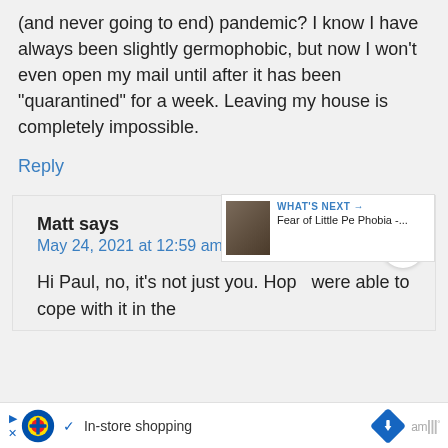(and never going to end) pandemic? I know I have always been slightly germophobic, but now I won’t even open my mail until after it has been “quarantined” for a week. Leaving my house is completely impossible.
Reply
Matt says
May 24, 2021 at 12:59 am
Hi Paul, no, it’s not just you. Hop   were able to cope with it in the
WHAT’S NEXT →
Fear of Little Pe Phobia -...
▶ ✓ In-store shopping ✕